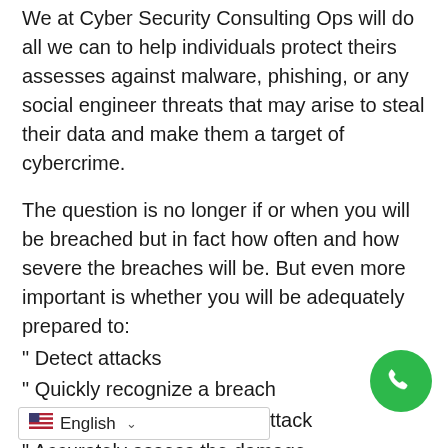We at Cyber Security Consulting Ops will do all we can to help individuals protect theirs assesses against malware, phishing, or any social engineer threats that may arise to steal their data and make them a target of cybercrime.
The question is no longer if or when you will be breached but in fact how often and how severe the breaches will be. But even more important is whether you will be adequately prepared to:
" Detect attacks
" Quickly recognize a breach
" Effectively remediate the attack
" Accurately assess the damage
Three Levels of Security Readiness
Pr... panies have above-average